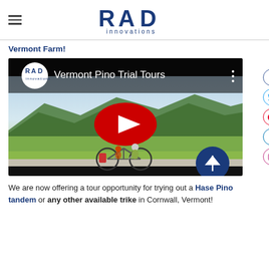RAD innovations
Vermont Farm!
[Figure (screenshot): YouTube video thumbnail for 'Vermont Pino Trial Tours' by RAD innovations, showing two cyclists on a tandem recumbent bike on a road with green fields and mountains. A large red YouTube play button is centered on the video.]
We are now offering a tour opportunity for trying out a Hase Pino tandem or any other available trike in Cornwall, Vermont!